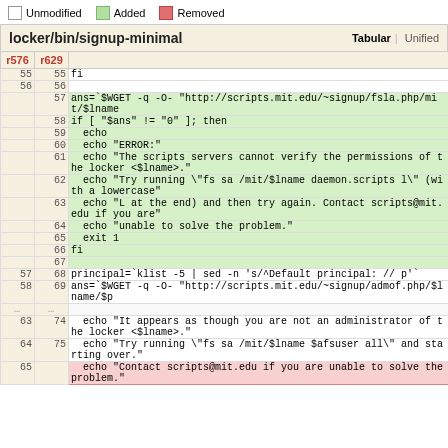[Figure (screenshot): Code diff view of locker/bin/signup-minimal showing tabular diff between revision r576 and r629 with added lines highlighted in green and removed lines in red. Legend shows Unmodified, Added, Removed. Lines 55-75 visible with added block (lines 57-67) and removed line 65.]
locker/bin/signup-minimal — Tabular | Unified diff view